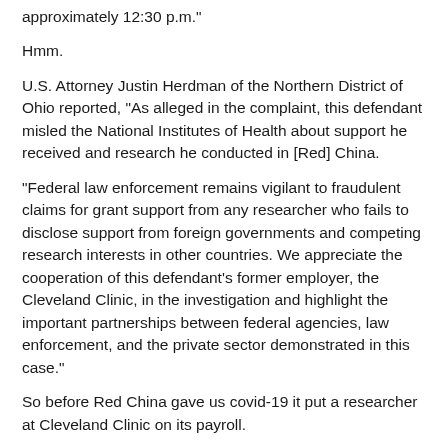approximately 12:30 p.m."
Hmm.
U.S. Attorney Justin Herdman of the Northern District of Ohio reported, "As alleged in the complaint, this defendant misled the National Institutes of Health about support he received and research he conducted in [Red] China.
"Federal law enforcement remains vigilant to fraudulent claims for grant support from any researcher who fails to disclose support from foreign governments and competing research interests in other countries. We appreciate the cooperation of this defendant's former employer, the Cleveland Clinic, in the investigation and highlight the important partnerships between federal agencies, law enforcement, and the private sector demonstrated in this case."
So before Red China gave us covid-19 it put a researcher at Cleveland Clinic on its payroll.